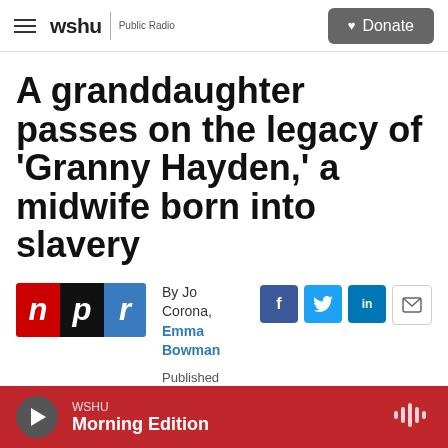wshu | Public Radio  Donate
A granddaughter passes on the legacy of 'Granny Hayden,' a midwife born into slavery
By Jo Corona, Emma Bowman
Published February 18, 2022 at 5:11 AM EST
[Figure (logo): NPR logo with three colored blocks: red 'n', black 'p', blue 'r']
[Figure (infographic): Social sharing buttons: Facebook, Twitter, LinkedIn, Email]
WSHU Morning Edition (audio player bar)